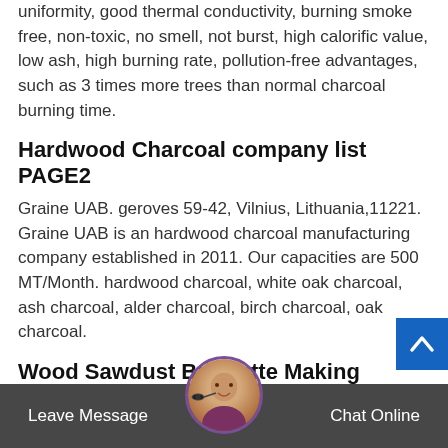uniformity, good thermal conductivity, burning smoke free, non-toxic, no smell, not burst, high calorific value, low ash, high burning rate, pollution-free advantages, such as 3 times more trees than normal charcoal burning time.
Hardwood Charcoal company list PAGE2
Graine UAB. geroves 59-42, Vilnius, Lithuania,11221. Graine UAB is an hardwood charcoal manufacturing company established in 2011. Our capacities are 500 MT/Month. hardwood charcoal, white oak charcoal, ash charcoal, alder charcoal, birch charcoal, oak charcoal.
Wood Sawdust Briquette Making Machine
Industrial or domestic wood sawdust briquette making machine for sales – face punching briquette machine for biomass fuel making; buy wood sawdust